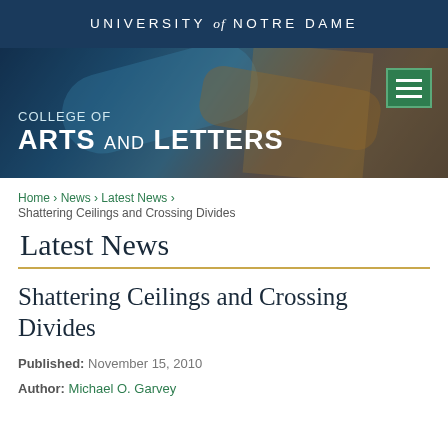UNIVERSITY of NOTRE DAME
[Figure (screenshot): Banner image for College of Arts and Letters with blurred background of wooden beams and blue sky, with hamburger menu icon]
Home › News › Latest News › Shattering Ceilings and Crossing Divides
Latest News
Shattering Ceilings and Crossing Divides
Published: November 15, 2010
Author: Michael O. Garvey